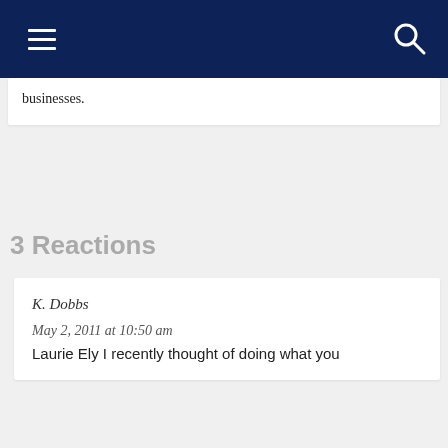Navigation bar with hamburger menu and search icon
businesses.
3 Reactions
K. Dobbs
May 2, 2011 at 10:50 am
Laurie Ely I recently thought of doing what you